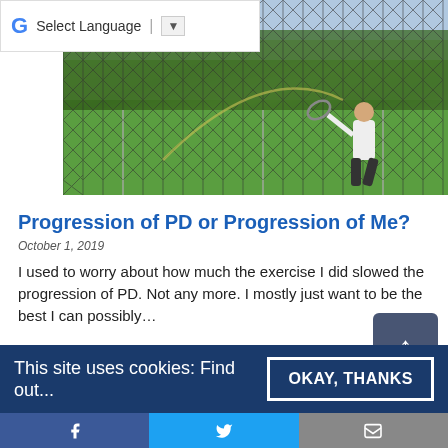Select Language
[Figure (photo): Person playing tennis behind a chain-link fence, green tennis court visible]
Progression of PD or Progression of Me?
October 1, 2019
I used to worry about how much the exercise I did slowed the progression of PD. Not any more. I mostly just want to be the best I can possibly…
[Figure (photo): Blurred grayscale image of a bed with white sheets]
This site uses cookies: Find out...
OKAY, THANKS